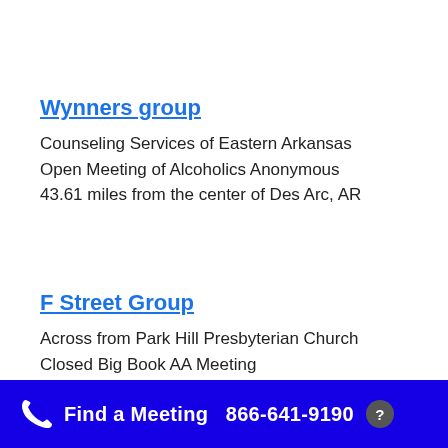Wynners group
Counseling Services of Eastern Arkansas
Open Meeting of Alcoholics Anonymous
43.61 miles from the center of Des Arc, AR
F Street Group
Across from Park Hill Presbyterian Church
Closed Big Book AA Meeting
44.63 miles from the center of Des Arc, AR
Find a Meeting  866-641-9190